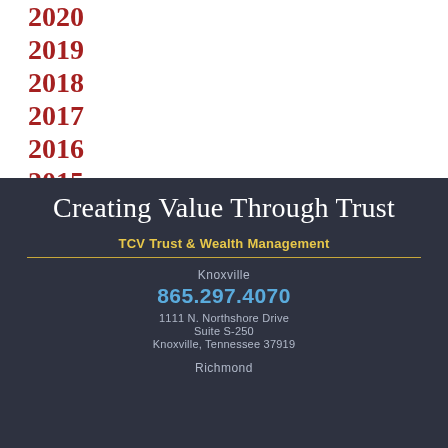2020
2019
2018
2017
2016
2015
Creating Value Through Trust
TCV Trust & Wealth Management
Knoxville
865.297.4070
1111 N. Northshore Drive
Suite S-250
Knoxville, Tennessee 37919
Richmond